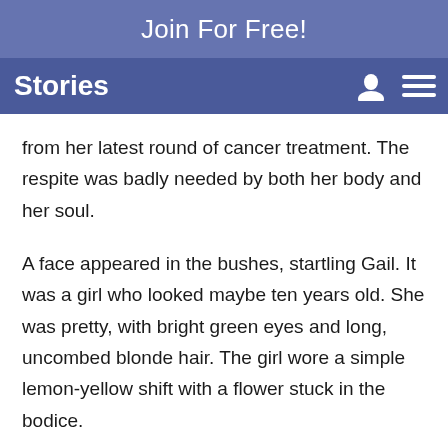Join For Free!
Stories
from her latest round of cancer treatment. The respite was badly needed by both her body and her soul.
A face appeared in the bushes, startling Gail. It was a girl who looked maybe ten years old. She was pretty, with bright green eyes and long, uncombed blonde hair. The girl wore a simple lemon-yellow shift with a flower stuck in the bodice.
“Hello,” Gail said with a smile.